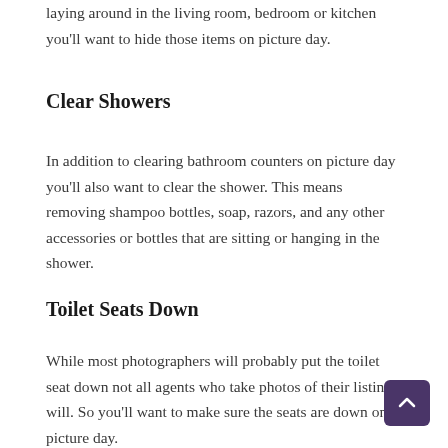laying around in the living room, bedroom or kitchen you'll want to hide those items on picture day.
Clear Showers
In addition to clearing bathroom counters on picture day you'll also want to clear the shower. This means removing shampoo bottles, soap, razors, and any other accessories or bottles that are sitting or hanging in the shower.
Toilet Seats Down
While most photographers will probably put the toilet seat down not all agents who take photos of their listings will. So you'll want to make sure the seats are down on picture day.